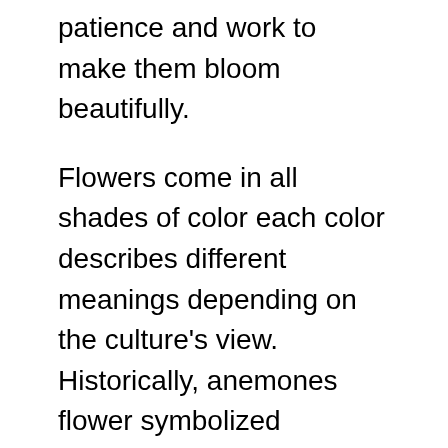patience and work to make them bloom beautifully.
Flowers come in all shades of color each color describes different meanings depending on the culture's view. Historically, anemones flower symbolized forsaken love and death as red anemones represent the blood of love that Christ sacrificed to save humanity.
Beyond this melancholic anemone meaning, it describes another significant meaning of anticipation as this flower closes at night and blooms up during daylight. It also signifies